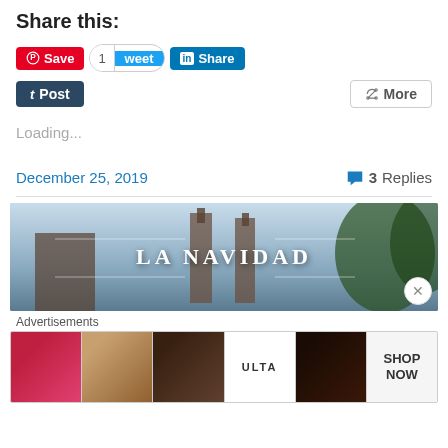Share this:
[Figure (screenshot): Social share buttons row 1: Pinterest Save button (red), tweet count 1, Tweet button (blue), LinkedIn Share button (blue)]
[Figure (screenshot): Social share buttons row 2: Tumblr Post button (dark blue), More button (white/gray)]
Loading...
December 25, 2019   💬 3 Replies
[Figure (photo): Article header image with text LA NAVIDAD over a sky background with church spires]
Advertisements
[Figure (photo): Ulta beauty advertisement strip showing makeup imagery including lips, brush, eye, Ulta logo, eyes, and SHOP NOW text]